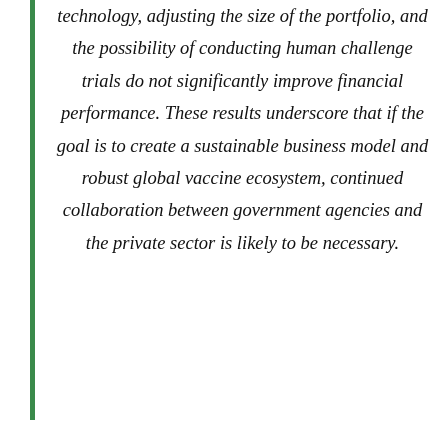technology, adjusting the size of the portfolio, and the possibility of conducting human challenge trials do not significantly improve financial performance. These results underscore that if the goal is to create a sustainable business model and robust global vaccine ecosystem, continued collaboration between government agencies and the private sector is likely to be necessary.